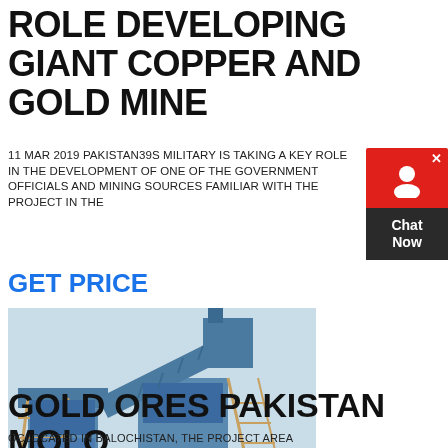ROLE DEVELOPING GIANT COPPER AND GOLD MINE
11 MAR 2019 PAKISTAN39S MILITARY IS TAKING A KEY ROLE IN THE DEVELOPMENT OF ONE OF THE GOVERNMENT OFFICIALS AND MINING SOURCES FAMILIAR WITH THE PROJECT IN THE
GET PRICE
[Figure (photo): Industrial mining equipment - large blue steel structure/conveyor system with scaffolding and stairs at a mining site]
GOLD ORES PAKISTAN MOLO
OCLOCATED IN BALOCHISTAN, THE PROJECT AREA